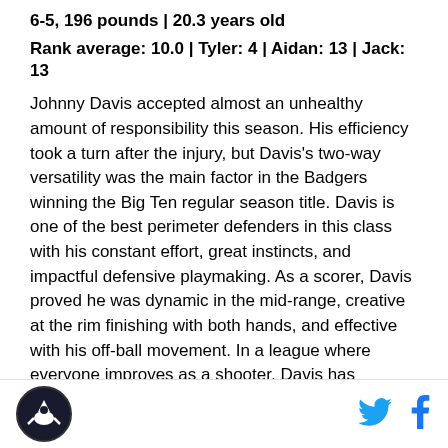6-5, 196 pounds | 20.3 years old
Rank average: 10.0 | Tyler: 4 | Aidan: 13 | Jack: 13
Johnny Davis accepted almost an unhealthy amount of responsibility this season. His efficiency took a turn after the injury, but Davis's two-way versatility was the main factor in the Badgers winning the Big Ten regular season title. Davis is one of the best perimeter defenders in this class with his constant effort, great instincts, and impactful defensive playmaking. As a scorer, Davis proved he was dynamic in the mid-range, creative at the rim finishing with both hands, and effective with his off-ball movement. In a league where everyone improves as a shooter, Davis has everything you want out of a 2-guard.
[Figure (logo): Circular sports logo with bird/hawk silhouette on dark background]
[Figure (logo): Twitter bird icon in blue]
[Figure (logo): Facebook f icon in blue]